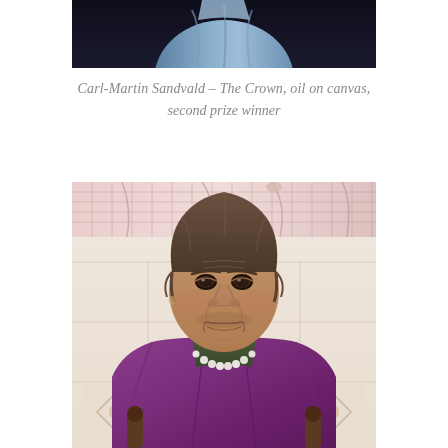[Figure (photo): Top portion of a painting showing the lower half of a figure in blue/grey tones against a dark background — appears to be part of 'The Crown' painting by Carl-Martin Sandvald]
Carl-Martin Sandvald – The Crown, oil on canvas, second prize winner
[Figure (photo): Realistic oil painting portrait of an elderly woman with grey-brown hair, wearing a purple/violet jacket over a dark green turtleneck sweater, with a white pearl necklace. She sits in a wooden chair with ornamental finials, against a tiled kitchen wall background with decorative diamond-pattern tiles. Her expression is somber and direct. The painting style is hyperrealistic.]